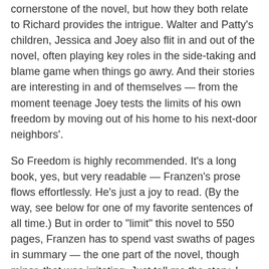cornerstone of the novel, but how they both relate to Richard provides the intrigue. Walter and Patty's children, Jessica and Joey also flit in and out of the novel, often playing key roles in the side-taking and blame game when things go awry. And their stories are interesting in and of themselves — from the moment teenage Joey tests the limits of his own freedom by moving out of his home to his next-door neighbors'.
So Freedom is highly recommended. It's a long book, yes, but very readable — Franzen's prose flows effortlessly. He's just a joy to read. (By the way, see below for one of my favorite sentences of all time.) But in order to "limit" this novel to 550 pages, Franzen has to spend vast swaths of pages in summary — the one part of the novel, though minor, that was irritating. Just tell me the story, I thought. I'd happily read another 500 pages of this! Also, isn't it sort of clunky to write an entire novel that plumbs the limits of freedom, and then title it "Freedom"? Again, a minor annoyance. So I'd subtract a half a star from my rating: 4.5 out of 5. This is top-shelf contemporary literature. Enjoy it!